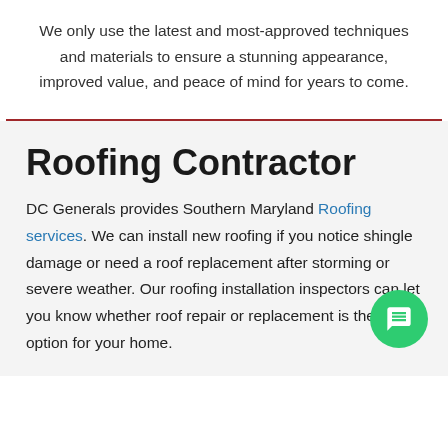We only use the latest and most-approved techniques and materials to ensure a stunning appearance, improved value, and peace of mind for years to come.
Roofing Contractor
DC Generals provides Southern Maryland Roofing services. We can install new roofing if you notice shingle damage or need a roof replacement after storming or severe weather. Our roofing installation inspectors can let you know whether roof repair or replacement is the best option for your home.